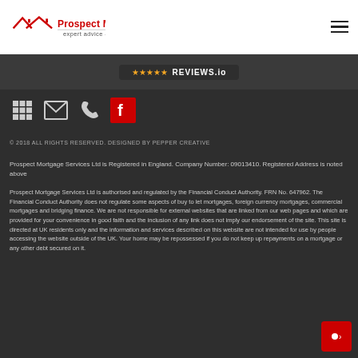[Figure (logo): Prospect Mortgage Services logo with red house icon, bold red company name, and tagline 'expert advice - professional service']
[Figure (screenshot): Reviews.io badge in dark bar]
[Figure (infographic): Row of social/contact icons: grid/calculator, envelope, phone, Facebook (red)]
© 2018 ALL RIGHTS RESERVED. DESIGNED BY PEPPER CREATIVE
Prospect Mortgage Services Ltd is Registered in England. Company Number: 09013410. Registered Address is noted above
Prospect Mortgage Services Ltd is authorised and regulated by the Financial Conduct Authority. FRN No. 647962. The Financial Conduct Authority does not regulate some aspects of buy to let mortgages, foreign currency mortgages, commercial mortgages and bridging finance. We are not responsible for external websites that are linked from our web pages and which are provided for your convenience in good faith and the inclusion of any link does not imply our endorsement of the site. This site is directed at UK residents only and the information and services described on this website are not intended for use by people accessing the website outside of the UK. Your home may be repossessed if you do not keep up repayments on a mortgage or any other debt secured on it.